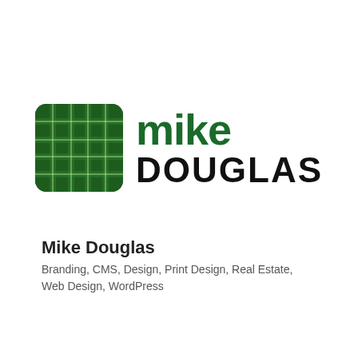[Figure (logo): Mike Douglas logo: green plaid square icon on the left, 'mike' in dark green lowercase bold text and 'DOUGLAS' in large bold black uppercase text on the right]
Mike Douglas
Branding, CMS, Design, Print Design, Real Estate, Web Design, WordPress